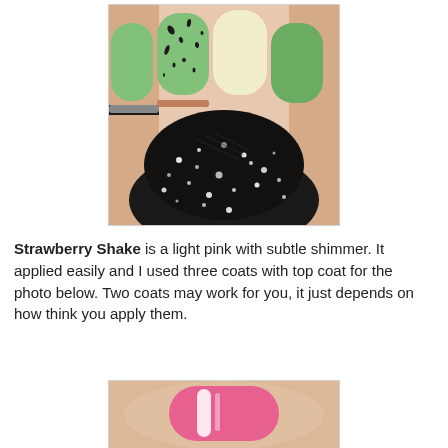[Figure (photo): Close-up photo of a hand holding a black glitter nail polish bottle. The nails on the hand are painted in varying colors: mint green, mint green with black splatter design, cream/yellow, and green. The bottle itself is dark black with white glitter speckles.]
Strawberry Shake is a light pink with subtle shimmer. It applied easily and I used three coats with top coat for the photo below. Two coats may work for you, it just depends on how think you apply them.
[Figure (photo): Close-up photo of a finger with pink nail polish and a white stripe/highlight visible on the nail, shown against a light background.]